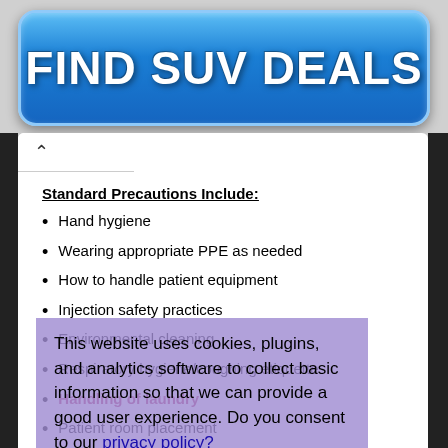[Figure (other): Advertisement banner button with text FIND SUV DEALS on blue gradient background]
Standard Precautions Include:
Hand hygiene
Wearing appropriate PPE as needed
How to handle patient equipment
Injection safety practices
Environmental cleaning
Respiratory hygiene/coughing etiquette
Handling of laundry
Patient room placement
This website uses cookies, plugins, and analytics software to collect basic information so that we can provide a good user experience. Do you consent to our privacy policy?